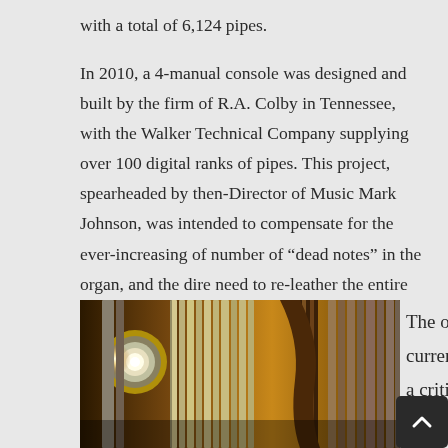with a total of 6,124 pipes.
In 2010, a 4-manual console was designed and built by the firm of R.A. Colby in Tennessee, with the Walker Technical Company supplying over 100 digital ranks of pipes. This project, spearheaded by then-Director of Music Mark Johnson, was intended to compensate for the ever-increasing of number of “dead notes” in the organ, and the dire need to re-leather the entire instrument.
[Figure (photo): Close-up photograph of organ pipes, showing metallic and wooden pipes arranged vertically with ornate gothic architectural details and a light source visible on the left side.]
The organ is currently in a critical